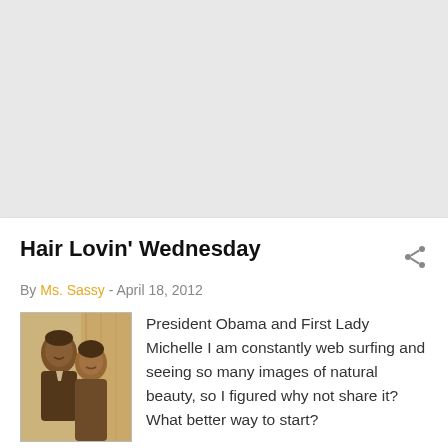[Figure (other): Gray background area at top of page (advertisement or image placeholder)]
Hair Lovin' Wednesday
By Ms. Sassy - April 18, 2012
[Figure (photo): Sepia-toned photo of President Obama and First Lady Michelle Obama]
President Obama and First Lady Michelle I am constantly web surfing and seeing so many images of natural beauty, so I figured why not share it? What better way to start?